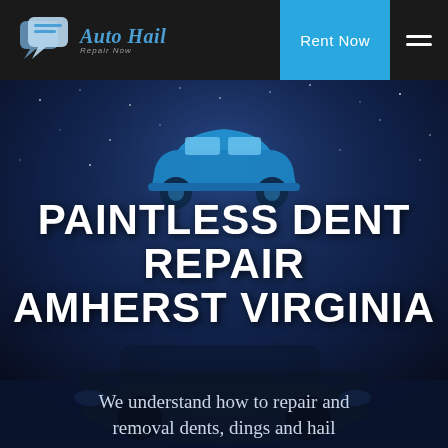Auto Hail Repair Now — Rent Now [navigation]
[Figure (logo): Auto Hail Repair Now logo with two speech bubble icons and italic script text 'Auto Hail' with subtitle 'Repair Now']
[Figure (illustration): Blue car icon silhouette centered on dark starry night background with a car silhouette visible at bottom]
PAINTLESS DENT REPAIR AMHERST VIRGINIA
We understand how to repair and removal dents, dings and hail